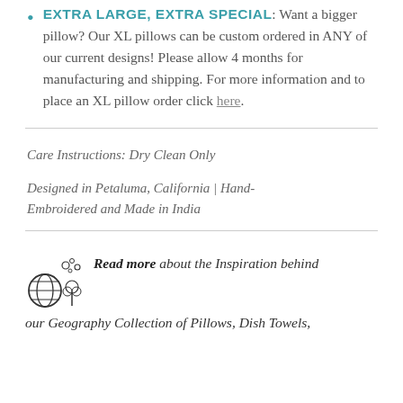EXTRA LARGE, EXTRA SPECIAL: Want a bigger pillow? Our XL pillows can be custom ordered in ANY of our current designs! Please allow 4 months for manufacturing and shipping. For more information and to place an XL pillow order click here.
Care Instructions: Dry Clean Only
Designed in Petaluma, California | Hand-Embroidered and Made in India
Read more about the Inspiration behind our Geography Collection of Pillows, Dish Towels,